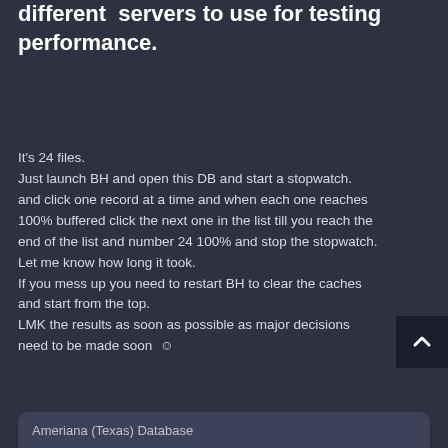different servers to use for testing performance.
It's 24 files.
Just launch BH and open this DB and start a stopwatch. and click one record at a time and when each one reaches 100% buffered click the next one in the list till you reach the end of the list and number 24 100% and stop the stopwatch.
Let me know how long it took.
If you mess up you need to restart BH to clear the caches and start from the top.
LMK the results as soon as possible as major decisions need to be made soon ☺
Ameriana (Texas) Database